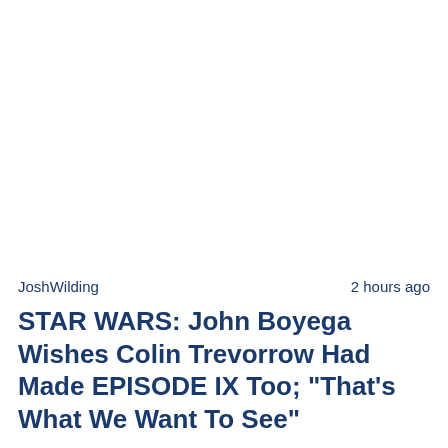JoshWilding                    2 hours ago
STAR WARS: John Boyega Wishes Colin Trevorrow Had Made EPISODE IX Too; "That's What We Want To See"